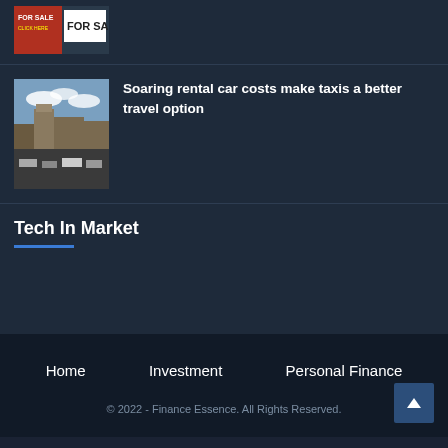[Figure (photo): Real estate 'For Sale' sign photo (partial, top of page)]
[Figure (photo): City street scene with cars and historic buildings]
Soaring rental car costs make taxis a better travel option
Tech In Market
Home   Investment   Personal Finance
© 2022 - Finance Essence. All Rights Reserved.